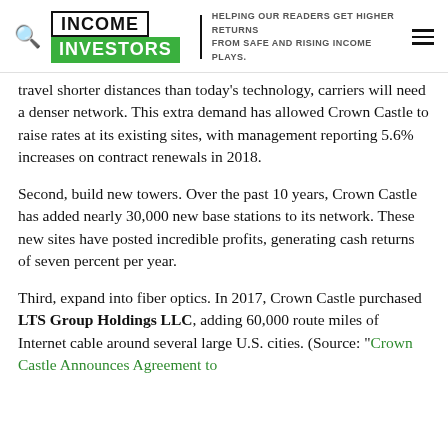INCOME INVESTORS — HELPING OUR READERS GET HIGHER RETURNS FROM SAFE AND RISING INCOME PLAYS.
travel shorter distances than today's technology, carriers will need a denser network. This extra demand has allowed Crown Castle to raise rates at its existing sites, with management reporting 5.6% increases on contract renewals in 2018.
Second, build new towers. Over the past 10 years, Crown Castle has added nearly 30,000 new base stations to its network. These new sites have posted incredible profits, generating cash returns of seven percent per year.
Third, expand into fiber optics. In 2017, Crown Castle purchased LTS Group Holdings LLC, adding 60,000 route miles of Internet cable around several large U.S. cities. (Source: "Crown Castle Announces Agreement to